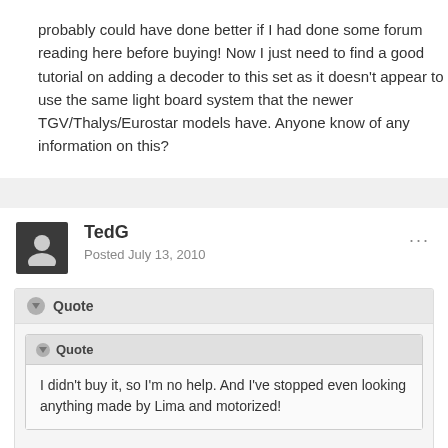probably could have done better if I had done some forum reading here before buying!  Now I just need to find a good tutorial on adding a decoder to this set as it doesn't appear to use the same light board system that the newer TGV/Thalys/Eurostar models have.  Anyone know of any information on this?
TedG
Posted July 13, 2010
Quote
Quote
I didn't buy it, so I'm no help. And I've stopped even looking anything made by Lima and motorized!
LOL, that seems to be the smart move given what other owners of Lima have had to say!